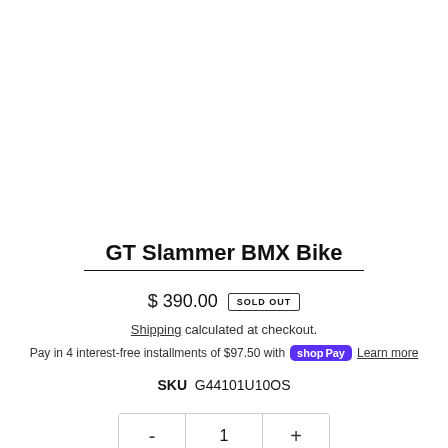GT Slammer BMX Bike
$ 390.00  SOLD OUT
Shipping calculated at checkout.
Pay in 4 interest-free installments of $97.50 with Shop Pay  Learn more
SKU  G44101U10OS
- 1 +